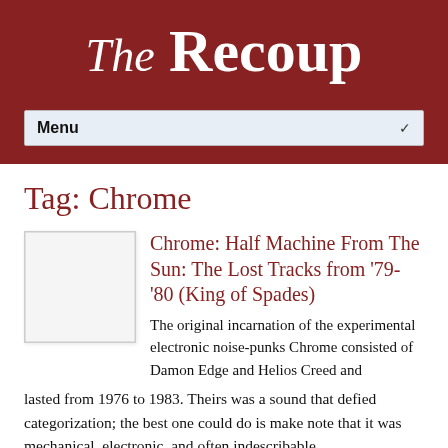The Recoup
Tag: Chrome
Chrome: Half Machine From The Sun: The Lost Tracks from '79-'80 (King of Spades)
The original incarnation of the experimental electronic noise-punks Chrome consisted of Damon Edge and Helios Creed and lasted from 1976 to 1983. Theirs was a sound that defied categorization; the best one could do is make note that it was mechanical, electronic, and often indescribable.